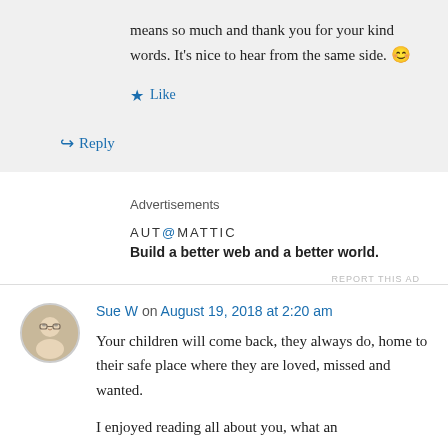means so much and thank you for your kind words. It's nice to hear from the same side. 😊
Like
Reply
Advertisements
AUTOMATTIC
Build a better web and a better world.
REPORT THIS AD
Sue W on August 19, 2018 at 2:20 am
Your children will come back, they always do, home to their safe place where they are loved, missed and wanted.
I enjoyed reading all about you, what an